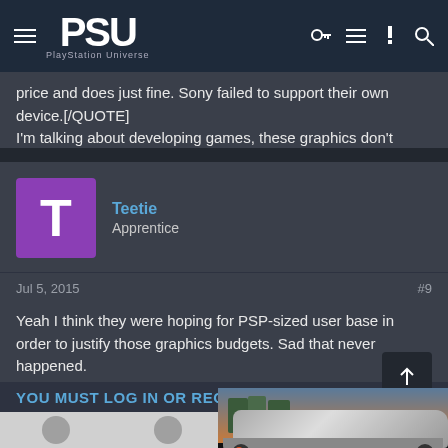PSU — PlayStation Universe
price and does just fine. Sony failed to support their own device.[/QUOTE] I'm talking about developing games, these graphics don't come cheap.
Teetie
Apprentice
Jul 5, 2015   #9
Yeah I think they were hoping for PSP-sized user base in order to justify those graphics budgets. Sad that never happened.

The 3DS has played things so much better in that respect. Look at games like Pokemon, Animal Crossing, Fire Emblem. All massive successes on the 3DS. I guarantee they all cost a lot less to make than Killzone or Uncharted.
[Figure (photo): Advertisement showing a sports car (McLaren) with caption: SLIGHTLY MAD STUDIOS WILL BE DELISTING PROJECT CARS 1 & 2]
YOU MUST LOG IN OR REGI